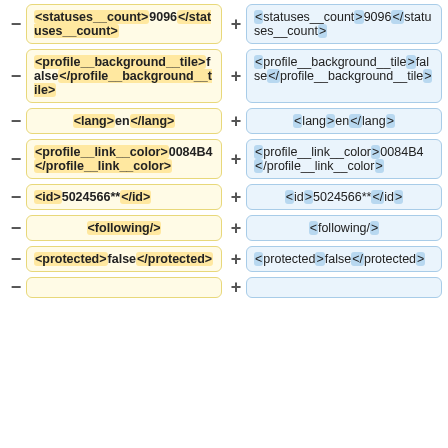&lt;statuses__count&gt;9096&lt;/statuses__count&gt;
<statuses__count>9096</statuses__count>
&lt;profile__background__tile&gt;false&lt;/profile__background__tile&gt;
<profile__background__tile>false</profile__background__tile>
&lt;lang&gt;en&lt;/lang&gt;
<lang>en</lang>
&lt;profile__link__color&gt;0084B4&lt;/profile__link__color&gt;
<profile__link__color>0084B4</profile__link__color>
&lt;id&gt;5024566**&lt;/id&gt;
<id>5024566**</id>
&lt;following/&gt;
<following/>
&lt;protected&gt;false&lt;/protected&gt;
<protected>false</protected>